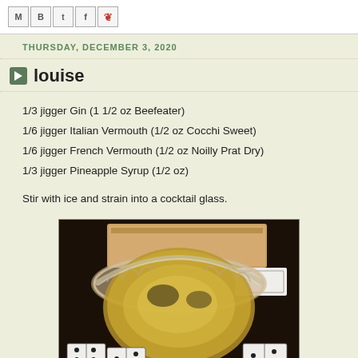M B t f p (social share icons)
THURSDAY, DECEMBER 3, 2020
louise
1/3 jigger Gin (1 1/2 oz Beefeater)
1/6 jigger Italian Vermouth (1/2 oz Cocchi Sweet)
1/6 jigger French Vermouth (1/2 oz Noilly Prat Dry)
1/3 jigger Pineapple Syrup (1/2 oz)
Stir with ice and strain into a cocktail glass.
[Figure (photo): A crystal cocktail glass filled with a golden/amber colored drink, viewed from above and slightly to the side, with dominoes and a wooden box visible in the background on a dark surface.]